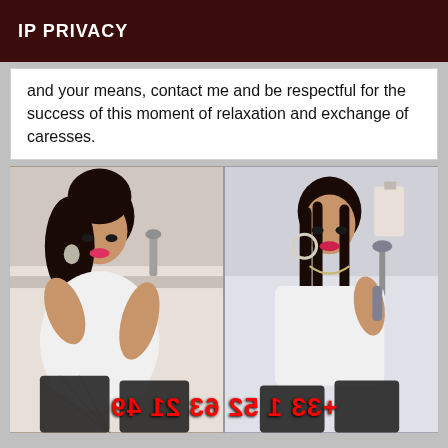IP PRIVACY
and your means, contact me and be respectful for the success of this moment of relaxation and exchange of caresses.
[Figure (photo): Two side-by-side photos of a dark-haired woman in a bathtub wearing a white top and fishnet stockings, with a mirrored red phone number overlay at the bottom reading +33 1 52 63 21 49]
+33 1 52 63 21 49